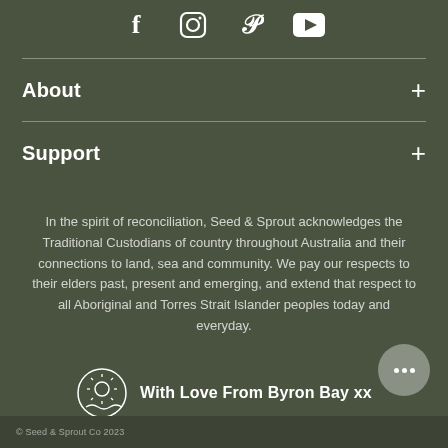[Figure (other): Row of four social media icons: Facebook (f), Instagram (square with circle), Pinterest (P), YouTube (play button triangle in rounded rectangle)]
About +
Support +
In the spirit of reconciliation, Seed & Sprout acknowledges the Traditional Custodians of country throughout Australia and their connections to land, sea and community. We pay our respects to their elders past, present and emerging, and extend that respect to all Aboriginal and Torres Strait Islander peoples today and everyday.
With Love From Byron Bay xx
© Seed & Sprout Co 2023 ...